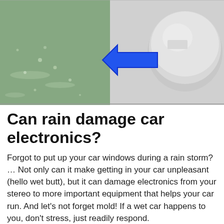[Figure (photo): Photo of a wet car scene with a blue arrow pointing left toward a car engine/cylindrical part, with water droplets visible on a surface.]
Can rain damage car electronics?
Forgot to put up your car windows during a rain storm? … Not only can it make getting in your car unpleasant (hello wet butt), but it can damage electronics from your stereo to more important equipment that helps your car run. And let’s not forget mold! If a wet car happens to you, don’t stress, just readily respond.
What will happen to my car